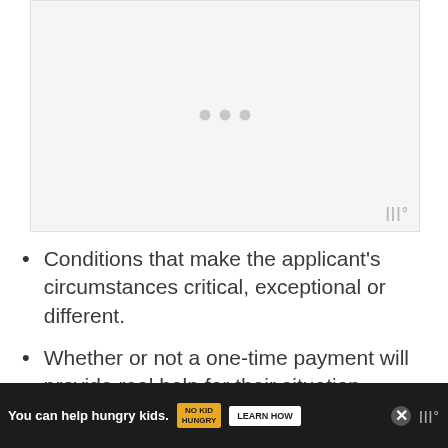[Figure (other): Video player placeholder with loading dots and Wistia logo watermark on light gray background]
Conditions that make the applicant's circumstances critical, exceptional or different.
Whether or not a one-time payment will provide real help for their situation.
...uired or
[Figure (other): Advertisement banner: 'You can help hungry kids.' No Kid Hungry - LEARN HOW, with close button and Wistia logo]